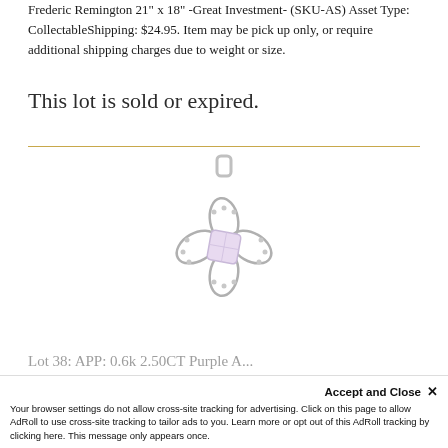Frederic Remington 21" x 18" -Great Investment- (SKU-AS) Asset Type: CollectableShipping: $24.95. Item may be pick up only, or require additional shipping charges due to weight or size.
This lot is sold or expired.
[Figure (photo): A silver jewelry pendant with a floral or knot design, featuring a light purple/lavender gemstone center, photographed on a white background.]
Lot 38: APP: 0.6k 2.50CT Purple A...
Your browser settings do not allow cross-site tracking for advertising. Click on this page to allow AdRoll to use cross-site tracking to tailor ads to you. Learn more or opt out of this AdRoll tracking by clicking here. This message only appears once.